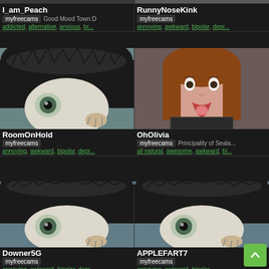[Figure (screenshot): Grid of streaming profile cards on a dark background. Top-left: I_am_Peach on myfreecams, location Good Mood Town:D, tags addicted, alternative, anxious, br.... Top-right: RunnyNoseKink on myfreecams, tags annoying, awkward, bipolar, depr.... Middle-left: RoomOnHold on myfreecams, cat thumbnail, tags annoying, awkward, bipolar, depr.... Middle-right: OhOlivia on myfreecams, Principality of Seala..., girl thumbnail, tags all natural, awesome, awkward, bi.... Bottom-left: Downer5G on myfreecams, cat thumbnail, tags annoying, awkward, bipolar, depr.... Bottom-right: APPLEFART7 on myfreecams, tags annoying, awkward, bipolar.... Green scroll-to-top button bottom right.]